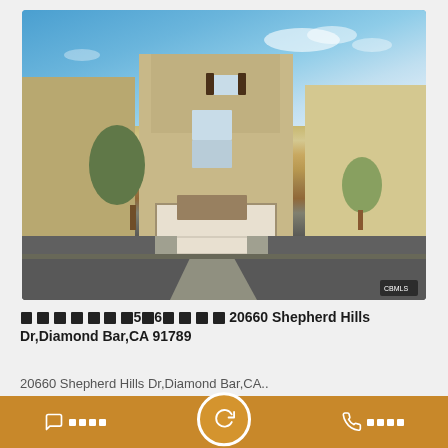[Figure (photo): Exterior photo of a two-story stucco townhouse at 20660 Shepherd Hills Dr, Diamond Bar, CA. The house has a white garage door, stone accent, and is flanked by similar beige stucco homes. Blue sky and landscaping visible.]
囧囧囧囧囧囧囧5囧6囧囧囧囧20660 Shepherd Hills Dr,Diamond Bar,CA 91789
20660 Shepherd Hills Dr,Diamond Bar,CA..
底部操作栏: 发消息 | 收藏 | 打电话